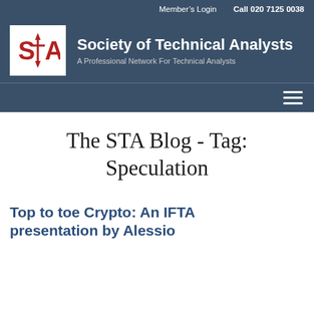Member's Login   Call 020 7125 0038
[Figure (logo): STA logo — red S T A letters with up and down arrows on a white background]
Society of Technical Analysts
A Professional Network For Technical Analysts
The STA Blog - Tag: Speculation
Top to toe Crypto: An IFTA presentation by Alessio